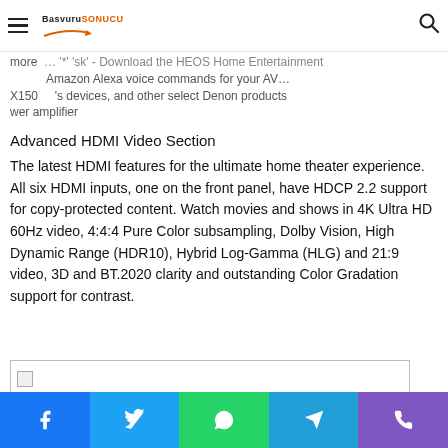Basvuru SONUCU — navigation header with hamburger menu and search icon
more ... '*' 'sk' - Download the HEOS Home Entertainment ... X150 ... 's devices, and other select Denon products ... wer amplifier
Advanced HDMI Video Section
The latest HDMI features for the ultimate home theater experience. All six HDMI inputs, one on the front panel, have HDCP 2.2 support for copy-protected content. Watch movies and shows in 4K Ultra HD 60Hz video, 4:4:4 Pure Color subsampling, Dolby Vision, High Dynamic Range (HDR10), Hybrid Log-Gamma (HLG) and 21:9 video, 3D and BT.2020 clarity and outstanding Color Gradation support for contrast.
[Figure (photo): Broken/loading image placeholder with small icon]
Social share bar: Facebook, Twitter, WhatsApp, Telegram, Phone